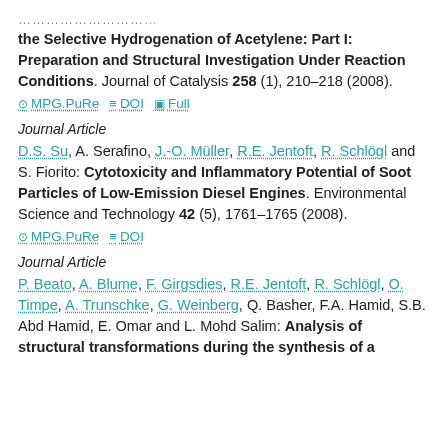……………………………………………………… the Selective Hydrogenation of Acetylene: Part I: Preparation and Structural Investigation Under Reaction Conditions. Journal of Catalysis 258 (1), 210–218 (2008).
MPG.PuRe  DOI  Full
Journal Article
D.S. Su, A. Serafino, J.-O. Müller, R.E. Jentoft, R. Schlögl and S. Fiorito: Cytotoxicity and Inflammatory Potential of Soot Particles of Low-Emission Diesel Engines. Environmental Science and Technology 42 (5), 1761–1765 (2008).
MPG.PuRe  DOI
Journal Article
P. Beato, A. Blume, F. Girgsdies, R.E. Jentoft, R. Schlögl, O. Timpe, A. Trunschke, G. Weinberg, Q. Basher, F.A. Hamid, S.B. Abd Hamid, E. Omar and L. Mohd Salim: Analysis of structural transformations during the synthesis of a